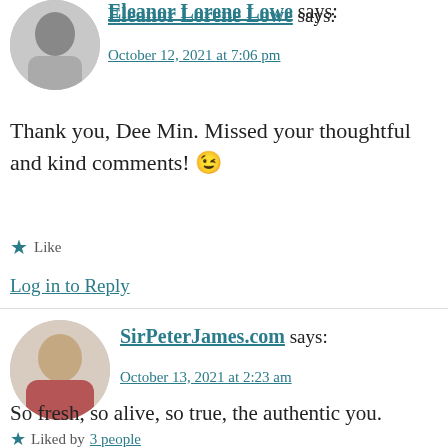Eleanor Lorene Lowe says:
October 12, 2021 at 7:06 pm
Thank you, Dee Min. Missed your thoughtful and kind comments! 😉
★ Like
Log in to Reply
SirPeterJames.com says:
October 13, 2021 at 2:23 am
So fresh, so alive, so true, the authentic you.
★ Liked by 3 people